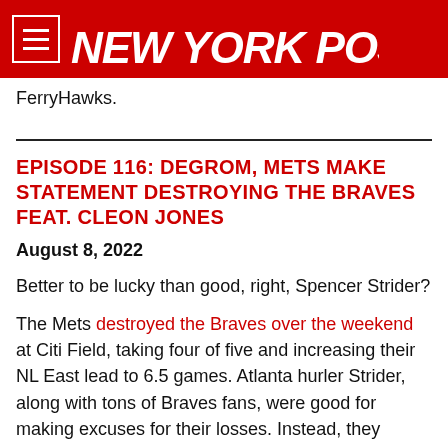NEW YORK POST
FerryHawks.
EPISODE 116: DEGROM, METS MAKE STATEMENT DESTROYING THE BRAVES FEAT. CLEON JONES
August 8, 2022
Better to be lucky than good, right, Spencer Strider?
The Mets destroyed the Braves over the weekend at Citi Field, taking four of five and increasing their NL East lead to 6.5 games. Atlanta hurler Strider, along with tons of Braves fans, were good for making excuses for their losses. Instead, they should probably just understand that the Mets are a better baseball